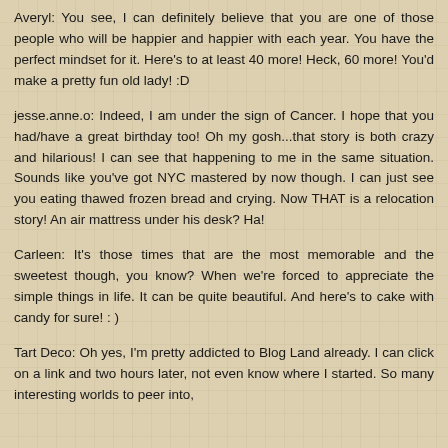Averyl: You see, I can definitely believe that you are one of those people who will be happier and happier with each year. You have the perfect mindset for it. Here's to at least 40 more! Heck, 60 more! You'd make a pretty fun old lady! :D
jesse.anne.o: Indeed, I am under the sign of Cancer. I hope that you had/have a great birthday too! Oh my gosh...that story is both crazy and hilarious! I can see that happening to me in the same situation. Sounds like you've got NYC mastered by now though. I can just see you eating thawed frozen bread and crying. Now THAT is a relocation story! An air mattress under his desk? Ha!
Carleen: It's those times that are the most memorable and the sweetest though, you know? When we're forced to appreciate the simple things in life. It can be quite beautiful. And here's to cake with candy for sure! : )
Tart Deco: Oh yes, I'm pretty addicted to Blog Land already. I can click on a link and two hours later, not even know where I started. So many interesting worlds to peer into, and so...